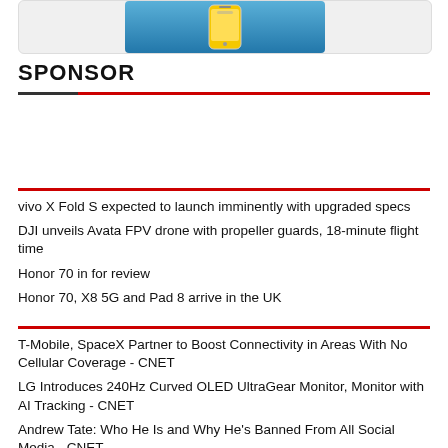[Figure (photo): Partial image of a smartphone (yellow iPhone) against a blue background]
SPONSOR
vivo X Fold S expected to launch imminently with upgraded specs
DJI unveils Avata FPV drone with propeller guards, 18-minute flight time
Honor 70 in for review
Honor 70, X8 5G and Pad 8 arrive in the UK
T-Mobile, SpaceX Partner to Boost Connectivity in Areas With No Cellular Coverage - CNET
LG Introduces 240Hz Curved OLED UltraGear Monitor, Monitor with AI Tracking - CNET
Andrew Tate: Who He Is and Why He's Banned From All Social Media - CNET
What Are the Risks of HELOCs and Home Equity Loans? - CNET